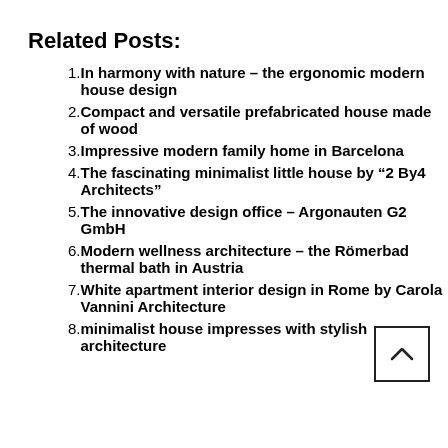Related Posts:
In harmony with nature – the ergonomic modern house design
Compact and versatile prefabricated house made of wood
Impressive modern family home in Barcelona
The fascinating minimalist little house by “2 By4 Architects”
The innovative design office – Argonauten G2 GmbH
Modern wellness architecture – the Römerbad thermal bath in Austria
White apartment interior design in Rome by Carola Vannini Architecture
minimalist house impresses with stylish architecture